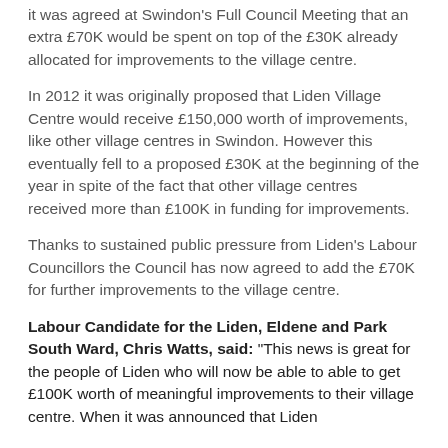it was agreed at Swindon's Full Council Meeting that an extra £70K would be spent on top of the £30K already allocated for improvements to the village centre.
In 2012 it was originally proposed that Liden Village Centre would receive £150,000 worth of improvements, like other village centres in Swindon. However this eventually fell to a proposed £30K at the beginning of the year in spite of the fact that other village centres received more than £100K in funding for improvements.
Thanks to sustained public pressure from Liden's Labour Councillors the Council has now agreed to add the £70K for further improvements to the village centre.
Labour Candidate for the Liden, Eldene and Park South Ward, Chris Watts, said: "This news is great for the people of Liden who will now be able to able to get £100K worth of meaningful improvements to their village centre. When it was announced that Liden